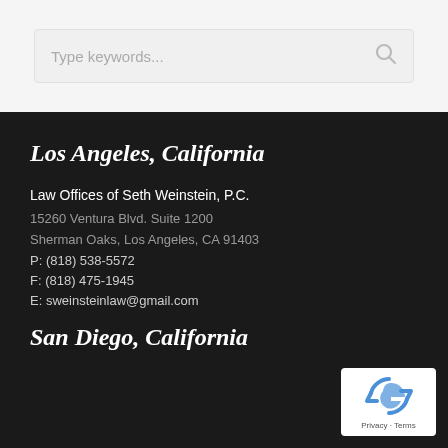[Figure (screenshot): Search bar with placeholder text 'Type keywords...' and a search icon on the right]
Los Angeles, California
Law Offices of Seth Weinstein, P.C.
15260 Ventura Blvd. Suite 1200
Sherman Oaks, Los Angeles, CA 91403
P: (818) 538-5572
F: (818) 475-1945
E: sweinsteinlaw@gmail.com
San Diego, California
[Figure (logo): reCAPTCHA badge with Google logo and Privacy - Terms text]